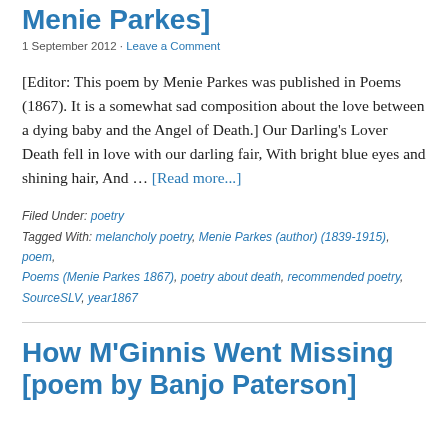Menie Parkes]
1 September 2012 · Leave a Comment
[Editor: This poem by Menie Parkes was published in Poems (1867). It is a somewhat sad composition about the love between a dying baby and the Angel of Death.] Our Darling's Lover Death fell in love with our darling fair, With bright blue eyes and shining hair, And … [Read more...]
Filed Under: poetry
Tagged With: melancholy poetry, Menie Parkes (author) (1839-1915), poem, Poems (Menie Parkes 1867), poetry about death, recommended poetry, SourceSLV, year1867
How M'Ginnis Went Missing [poem by Banjo Patterson]